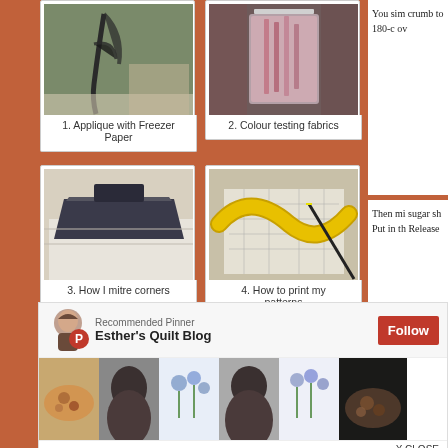[Figure (photo): Photo of applique with freezer paper showing dark leaf shapes on fabric]
1. Applique with Freezer Paper
[Figure (photo): Photo of a glass jar with pink/red liquid for colour testing fabrics]
2. Colour testing fabrics
You sim crumb to 180-c ov
[Figure (photo): Photo of an iron pressing fabric showing how to mitre corners]
3. How I mitre corners
[Figure (photo): Photo of a measuring tape and pattern papers showing how to print patterns]
4. How to print my patterns
Then mi sugar sh Put in th Release
[Figure (screenshot): Pinterest Recommended Pinner overlay showing Esther's Quilt Blog with Follow button and thumbnail images]
X CLOSE